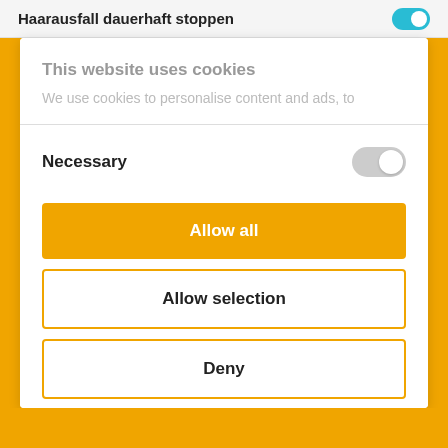Haarausfall dauerhaft stoppen
This website uses cookies
We use cookies to personalise content and ads, to
Necessary
Allow all
Allow selection
Deny